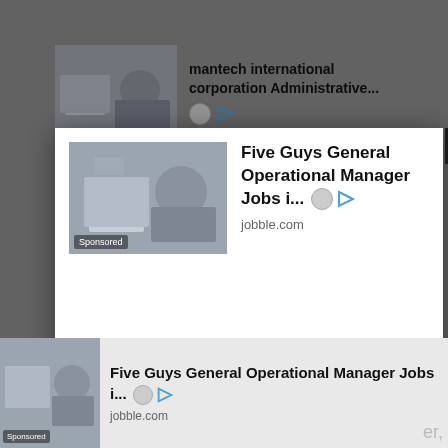[Figure (screenshot): Background page with grey overlay showing partial ad for mantech international corporation Administrative above modal]
[Figure (screenshot): Modal popup ad for Five Guys General Operational Manager Jobs showing image of person at laptop with Sponsored label, title text, jobble.com URL, and X close button]
Five Guys General Operational Manager Jobs i...
jobble.com
[Figure (screenshot): Bottom partial ad strip showing Five Guys General Operational Manager Jobs i... from jobble.com with Sponsored label]